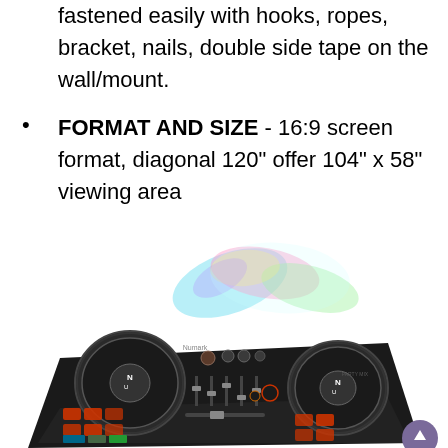fastened easily with hooks, ropes, bracket, nails, double side tape on the wall/mount.
FORMAT AND SIZE - 16:9 screen format, diagonal 120" offer 104" x 58" viewing area
[Figure (photo): Numark Party Mix DJ controller with colorful LED light burst effect above the unit, showing two jog wheels, mixer controls, and illuminated pads]